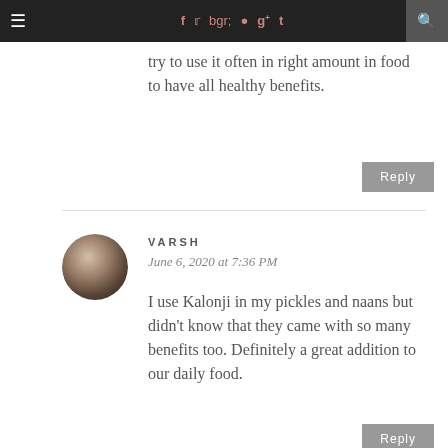≡  f  t  [instagram]  [pinterest]  g+  t  [search]
try to use it often in right amount in food to have all healthy benefits.
Reply
VARSH
June 6, 2020 at 7:36 PM
I use Kalonji in my pickles and naans but didn't know that they came with so many benefits too. Definitely a great addition to our daily food.
Reply